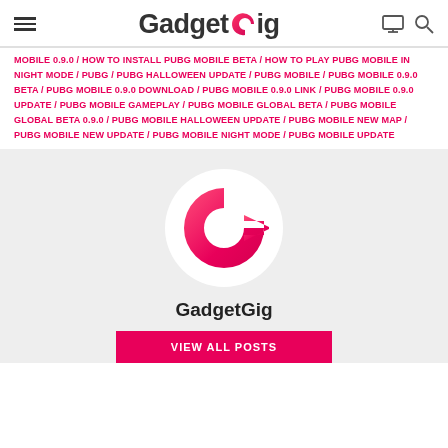GadgetGig
MOBILE 0.9.0 / HOW TO INSTALL PUBG MOBILE BETA / HOW TO PLAY PUBG MOBILE IN NIGHT MODE / PUBG / PUBG HALLOWEEN UPDATE / PUBG MOBILE / PUBG MOBILE 0.9.0 BETA / PUBG MOBILE 0.9.0 DOWNLOAD / PUBG MOBILE 0.9.0 LINK / PUBG MOBILE 0.9.0 UPDATE / PUBG MOBILE GAMEPLAY / PUBG MOBILE GLOBAL BETA / PUBG MOBILE GLOBAL BETA 0.9.0 / PUBG MOBILE HALLOWEEN UPDATE / PUBG MOBILE NEW MAP / PUBG MOBILE NEW UPDATE / PUBG MOBILE NIGHT MODE / PUBG MOBILE UPDATE
[Figure (logo): GadgetGig circular logo with pink/magenta gradient letter G and white star cutout]
GadgetGig
VIEW ALL POSTS